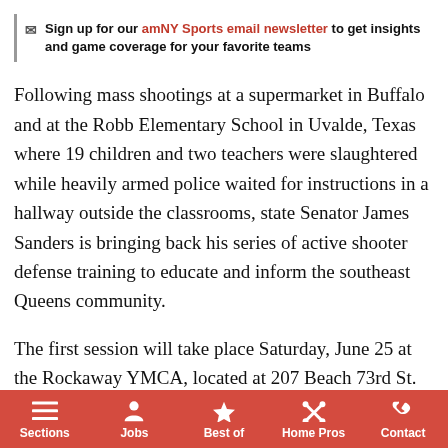Sign up for our amNY Sports email newsletter to get insights and game coverage for your favorite teams
Following mass shootings at a supermarket in Buffalo and at the Robb Elementary School in Uvalde, Texas where 19 children and two teachers were slaughtered while heavily armed police waited for instructions in a hallway outside the classrooms, state Senator James Sanders is bringing back his series of active shooter defense training to educate and inform the southeast Queens community.
The first session will take place Saturday, June 25 at the Rockaway YMCA, located at 207 Beach 73rd St. in Arverne from 1 to 3 p.m.
Sections | Jobs | Best of | Home Pros | Contact